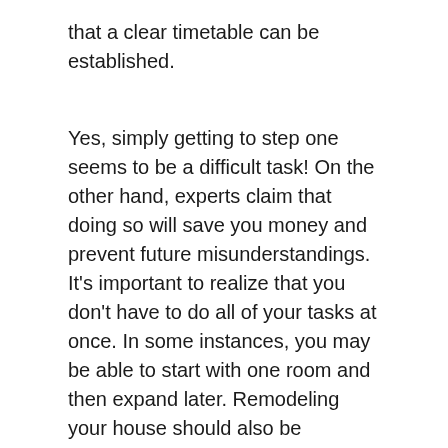that a clear timetable can be established.
Yes, simply getting to step one seems to be a difficult task! On the other hand, experts claim that doing so will save you money and prevent future misunderstandings. It’s important to realize that you don’t have to do all of your tasks at once. In some instances, you may be able to start with one room and then expand later. Remodeling your house should also be enjoyable rather than work!
Start The Process